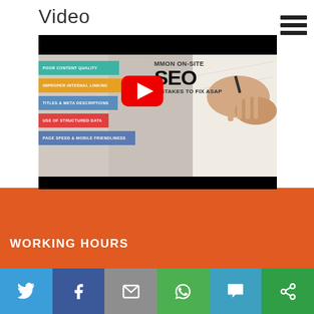Video
[Figure (screenshot): YouTube video thumbnail showing 'Common On-Site SEO Mistakes To Fix ASAP' with colored category bars on the left: Poor Content Quality, Improper Internal Linking, Titles & Meta Descriptions, Use of Structured Data, Page Speed & Mobile Friendliness. Red YouTube play button in center.]
WORKING HOURS
[Figure (infographic): Social sharing bar with icons for Twitter, Facebook, Email, WhatsApp, SMS, and Share/More options]